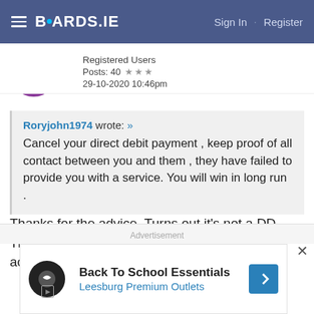BOARDS.IE   Sign In · Register
Registered Users
Posts: 40 ★★★
29-10-2020 10:46pm
Roryjohn1974 wrote: »
Cancel your direct debit payment , keep proof of all contact between you and them , they have failed to provide you with a service. You will win in long run .
Thanks for the advice. Turns out it's not a DD. They're just siphoning the money out of my account. Gets better and better.
[Figure (screenshot): Advertisement banner: Back To School Essentials - Leesburg Premium Outlets]